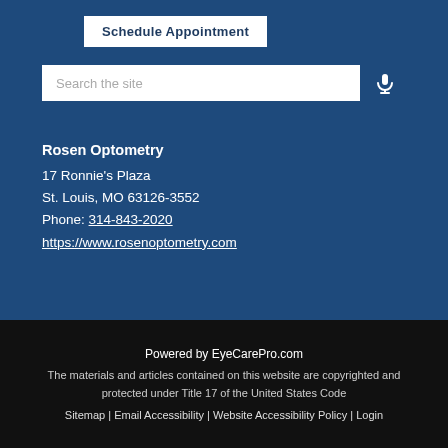Schedule Appointment
[Figure (other): Search bar with microphone icon on dark blue background]
Rosen Optometry
17 Ronnie's Plaza
St. Louis, MO 63126-3552
Phone: 314-843-2020
https://www.rosenoptometry.com
Powered by EyeCarePro.com
The materials and articles contained on this website are copyrighted and protected under Title 17 of the United States Code
Sitemap | Email Accessibility | Website Accessibility Policy | Login